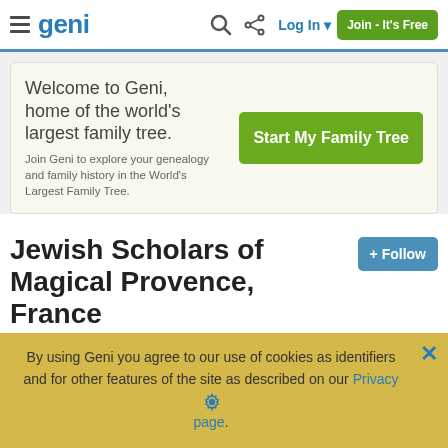Geni - Navigation bar with logo, search, share, Log In, Join - It's Free
Welcome to Geni, home of the world's largest family tree. Join Geni to explore your genealogy and family history in the World's Largest Family Tree.
Jewish Scholars of Magical Provence, France
« Back to Projects Dashboard
By using Geni you agree to our use of cookies as identifiers and for other features of the site as described on our Privacy page.